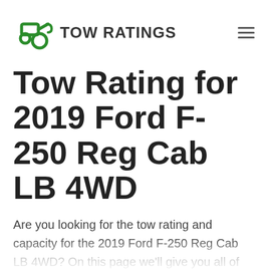TOW RATINGS
Tow Rating for 2019 Ford F-250 Reg Cab LB 4WD
Are you looking for the tow rating and capacity for the 2019 Ford F-250 Reg Cab LB 4WD? On this page we'll give you all of the towing capacity specification details for this vehicle.